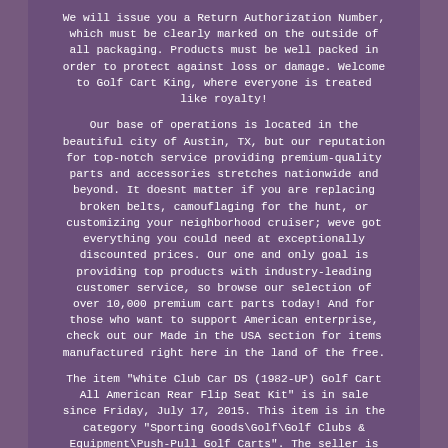We will issue you a Return Authorization Number, which must be clearly marked on the outside of all packaging. Products must be well packed in order to protect against loss or damage. Welcome to Golf Cart King, where everyone is treated like royalty!
Our base of operations is located in the beautiful city of Austin, TX, but our reputation for top-notch service providing premium-quality parts and accessories stretches nationwide and beyond. It doesnt matter if you are replacing broken belts, camouflaging for the hunt, or customizing your neighborhood cruiser; weve got everything you could need at exceptionally discounted prices. Our one and only goal is providing top products with industry-leading customer service, so browse our selection of over 10,000 premium cart parts today! And for those who want to support American enterprise, check out our Made in the USA section for items manufactured right here in the land of the free.
The item "White Club Car DS (1982-UP) Golf Cart All American Rear Flip Seat Kit" is in sale since Friday, July 17, 2015. This item is in the category "Sporting Goods\Golf\Golf Clubs & Equipment\Push-Pull Golf Carts". The seller is "golfcartking" and is located in Austin, Texas. This item can be shipped to United States,